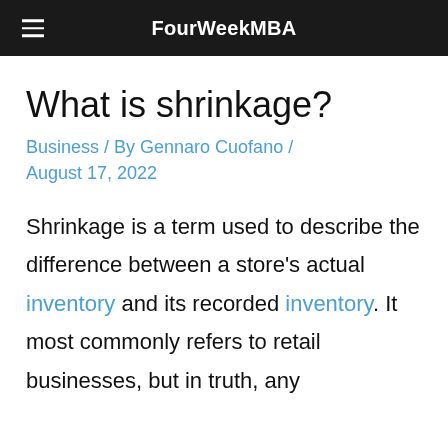FourWeekMBA
What is shrinkage?
Business / By Gennaro Cuofano / August 17, 2022
Shrinkage is a term used to describe the difference between a store's actual inventory and its recorded inventory. It most commonly refers to retail businesses, but in truth, any